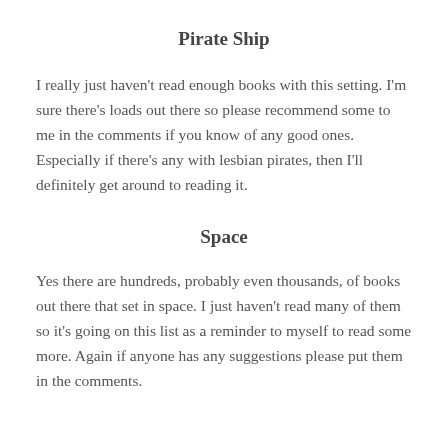Pirate Ship
I really just haven't read enough books with this setting. I'm sure there's loads out there so please recommend some to me in the comments if you know of any good ones. Especially if there's any with lesbian pirates, then I'll definitely get around to reading it.
Space
Yes there are hundreds, probably even thousands, of books out there that set in space. I just haven't read many of them so it's going on this list as a reminder to myself to read some more. Again if anyone has any suggestions please put them in the comments.